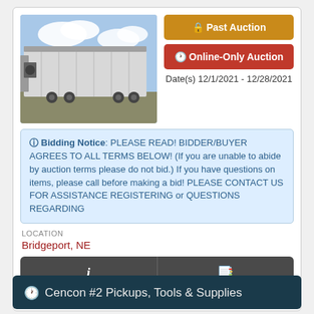[Figure (photo): White refrigerated semi-trailer photographed outdoors against a blue sky with clouds]
Past Auction
Online-Only Auction
Date(s) 12/1/2021 - 12/28/2021
Bidding Notice: PLEASE READ! BIDDER/BUYER AGREES TO ALL TERMS BELOW! (If you are unable to abide by auction terms please do not bid.) If you have questions on items, please call before making a bid! PLEASE CONTACT US FOR ASSISTANCE REGISTERING or QUESTIONS REGARDING
LOCATION
Bridgeport, NE
Details
Catalog
Cencon #2 Pickups, Tools & Supplies